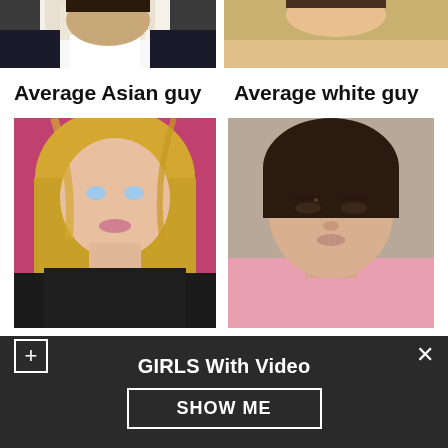[Figure (photo): Cropped photo of a man in white shirt (top portion, face/upper body) - average Asian guy]
[Figure (photo): Cropped photo of a person with yellow/cream background (top portion) - average white guy]
Average Asian guy
Average white guy
[Figure (photo): Photo of a blonde woman with blue eyes, pink background - presented as average white girl]
[Figure (photo): Photo of an Asian woman with dark hair, pink hoodie - presented as average Asian girl]
GIRLS With Video
SHOW ME